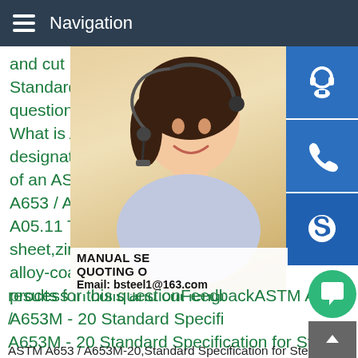Navigation
and cut lengths.ASTM A653 / Standard Specification for Ste questionWhat is ASTM desig What is ASTM designation nu designation number identifies of an ASTM standard.Active S A653 / A653M Developed by A05.11 This specification cov sheet,zinc-coated (galvanizec alloy-coated (galvannealed) b process in coils and cut lengt A653M - 20 Standard Specifi
[Figure (photo): Customer service representative woman with headset, smiling, with contact icons on the right side (headset, phone, Skype) and a contact banner showing MANUAL SE, QUOTING O, Email: bsteel1@163.com]
results for this questionFeedbackASTM A653 / A653M - 20 Standard Specification for Steel
ASTM A653 / A653M-20,Standard Specification for Steel Sheet,Zinc-Coated (Galvanized) or Zinc-Iron Alloy-Coated (Galvannealed) by the Hot-Dip Process,ASTM International,W